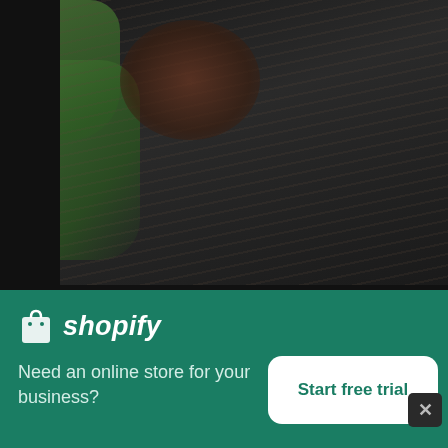[Figure (photo): A person looking at the camera through the leaves of a plant, dark moody background with streaked texture]
Person Looks At The Camera Through The Leaves Of A Plant
High resolution download ↓
[Figure (logo): Shopify logo — shopping bag icon with 'shopify' text in white italic]
Need an online store for your business?
Start free trial